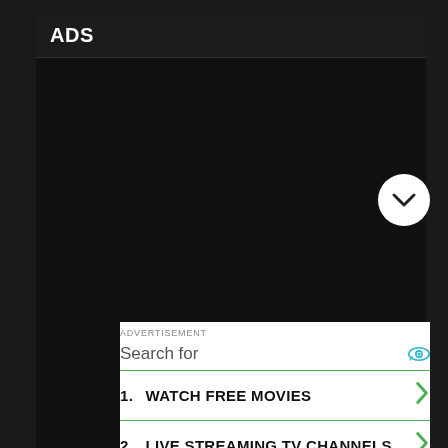ADS
[Figure (other): Dark/black advertisement panel placeholder area]
ADVERTISEMENT
Search for
1. WATCH FREE MOVIES
2. LIVE STREAMING TV CHANNELS
Ad | Business Focus